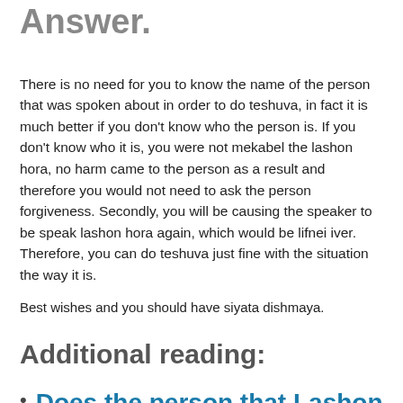Answer.
There is no need for you to know the name of the person that was spoken about in order to do teshuva, in fact it is much better if you don't know who the person is. If you don't know who it is, you were not mekabel the lashon hora, no harm came to the person as a result and therefore you would not need to ask the person forgiveness. Secondly, you will be causing the speaker to be speak lashon hora again, which would be lifnei iver. Therefore, you can do teshuva just fine with the situation the way it is.
Best wishes and you should have siyata dishmaya.
Additional reading:
Does the person that Lashon Hora was spoken about also get a sin?